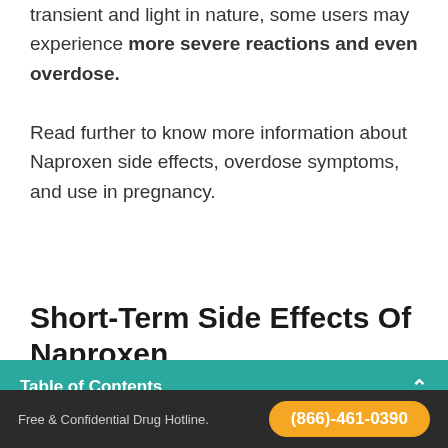transient and light in nature, some users may experience more severe reactions and even overdose.
Read further to know more information about Naproxen side effects, overdose symptoms, and use in pregnancy.
Short-Term Side Effects Of Naproxen
Table of Contents
Commonly, not everyone who takes this drug
Free & Confidential Drug Hotline.
(866)-461-0390